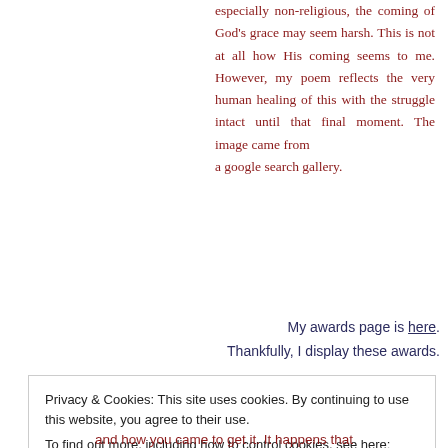especially non-religious, the coming of God's grace may seem harsh. This is not at all how His coming seems to me. However, my poem reflects the very human healing of this with the struggle intact until that final moment. The image came from a google search gallery.
My awards page is here. Thankfully, I display these awards.
Privacy & Cookies: This site uses cookies. By continuing to use this website, you agree to their use.
To find out more, including how to control cookies, see here: Cookie Policy
Close and accept
and how you came to get it. It happens that